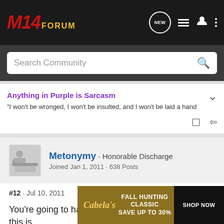M14 FORUM
Search Community
Anything in Purple is Sarcasm
"I won't be wronged, I won't be insulted, and I won't be laid a hand
Metonymy · Honorable Discharge
Joined Jan 1, 2011 · 638 Posts
#12 · Jul 10, 2011
You're going to have to tell me which little fun shop this is...

Nice sco
[Figure (infographic): Cabela's Fall Hunting Classic advertisement banner: Save up to 30%, Shop Now button]